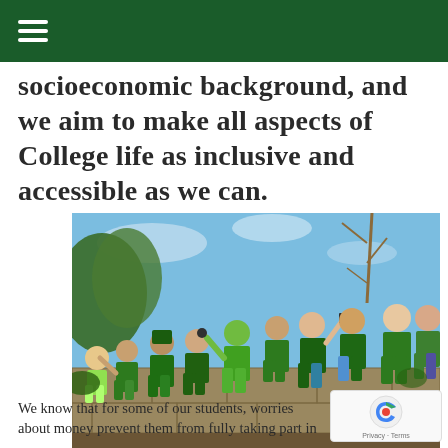[navigation menu icon]
socioeconomic background, and we aim to make all aspects of College life as inclusive and accessible as we can.
[Figure (photo): Group of students dressed mostly in green clothing sitting and celebrating on a stone wall outdoors with trees and blue sky in the background.]
We know that for some of our students, worries about money prevent them from fully taking part in